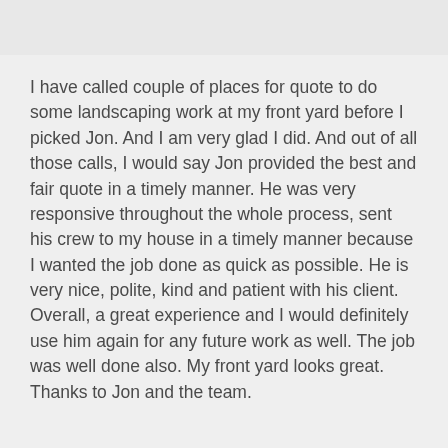I have called couple of places for quote to do some landscaping work at my front yard before I picked Jon. And I am very glad I did. And out of all those calls, I would say Jon provided the best and fair quote in a timely manner. He was very responsive throughout the whole process, sent his crew to my house in a timely manner because I wanted the job done as quick as possible. He is very nice, polite, kind and patient with his client. Overall, a great experience and I would definitely use him again for any future work as well. The job was well done also. My front yard looks great. Thanks to Jon and the team.